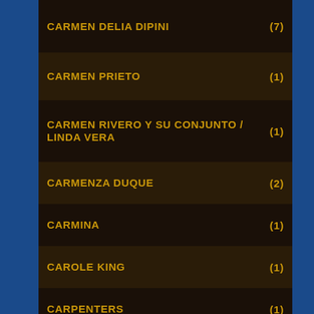CARMEN DELIA DIPINI (7)
CARMEN PRIETO (1)
CARMEN RIVERO Y SU CONJUNTO / LINDA VERA (1)
CARMENZA DUQUE (2)
CARMINA (1)
CAROLE KING (1)
CARPENTERS (1)
CASINO DE LA PLAYA & CASCARITA (1)
CASINO DE LA PLAYA & MIGUELITO VALDÉS (2)